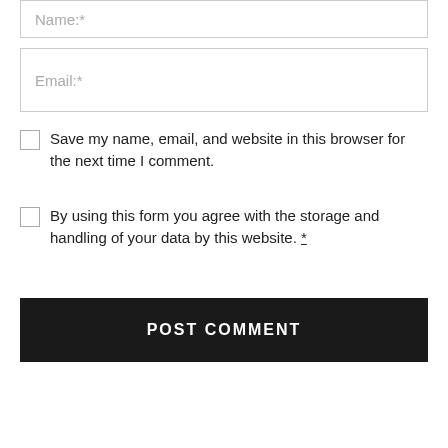Name:*
Email:*
Save my name, email, and website in this browser for the next time I comment.
By using this form you agree with the storage and handling of your data by this website. *
POST COMMENT